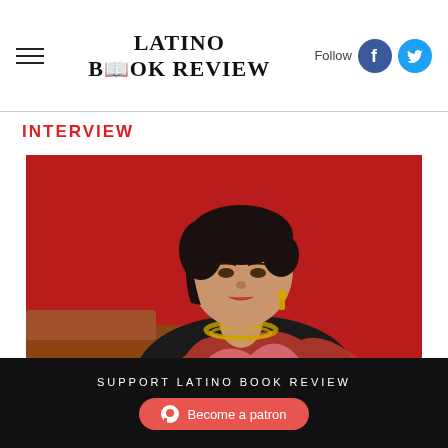LATINO BOOK REVIEW
INTERVIEW
[Figure (photo): Portrait of a woman with short dark hair, wearing a black top with a red/pink wrap and gold beaded necklace, seated on a brown leather sofa against a red background.]
SUPPORT LATINO BOOK REVIEW
Become a patron